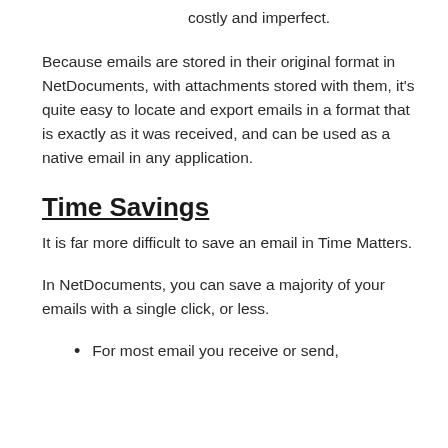costly and imperfect.
Because emails are stored in their original format in NetDocuments, with attachments stored with them, it's quite easy to locate and export emails in a format that is exactly as it was received, and can be used as a native email in any application.
Time Savings
It is far more difficult to save an email in Time Matters.
In NetDocuments, you can save a majority of your emails with a single click, or less.
For most email you receive or send,